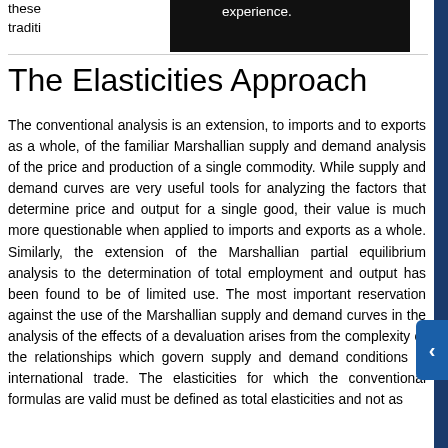these experience. traditi ...apply...
The Elasticities Approach
The conventional analysis is an extension, to imports and to exports as a whole, of the familiar Marshallian supply and demand analysis of the price and production of a single commodity. While supply and demand curves are very useful tools for analyzing the factors that determine price and output for a single good, their value is much more questionable when applied to imports and exports as a whole. Similarly, the extension of the Marshallian partial equilibrium analysis to the determination of total employment and output has been found to be of limited use. The most important reservation against the use of the Marshallian supply and demand curves in the analysis of the effects of a devaluation arises from the complexity of the relationships which govern supply and demand conditions in international trade. The elasticities for which the conventional formulas are valid must be defined as total elasticities and not as